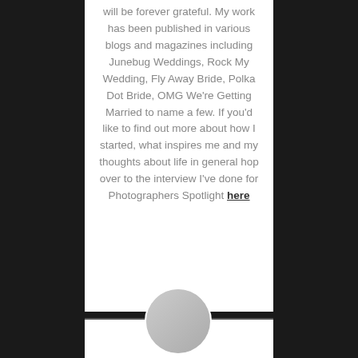will be forever grateful. My work has been published in various blogs and magazines including Junebug Weddings, Rock My Wedding, Fly Away Bride, Polka Dot Bride, OMG We're Getting Married to name a few. If you'd like to find out more about how I started, what inspires me and my thoughts about life in general hop over to the interview I've done for Photographers Spotlight here